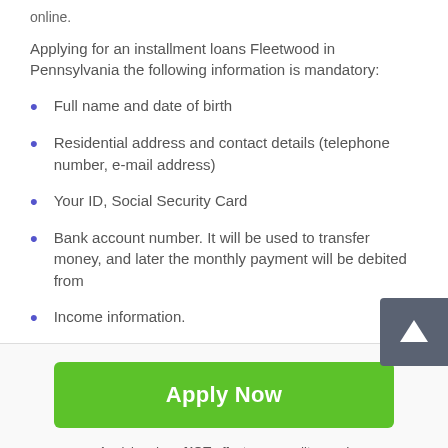online.
Applying for an installment loans Fleetwood in Pennsylvania the following information is mandatory:
Full name and date of birth
Residential address and contact details (telephone number, e-mail address)
Your ID, Social Security Card
Bank account number. It will be used to transfer money, and later the monthly payment will be debited from
Income information.
[Figure (other): Green 'Apply Now' button]
Applying does NOT affect your credit score!
No credit check to apply.